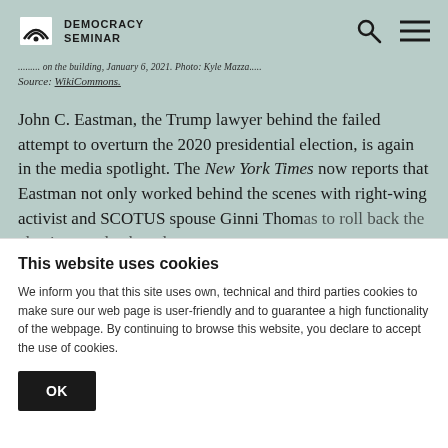DEMOCRACY SEMINAR
...attack on the building, January 6, 2021. Photo: Kyle Mazza...
Source: WikiCommons.
John C. Eastman, the Trump lawyer behind the failed attempt to overturn the 2020 presidential election, is again in the media spotlight. The New York Times now reports that Eastman not only worked behind the scenes with right-wing activist and SCOTUS spouse Ginni Thomas to roll back the election results, but also
This website uses cookies
We inform you that this site uses own, technical and third parties cookies to make sure our web page is user-friendly and to guarantee a high functionality of the webpage. By continuing to browse this website, you declare to accept the use of cookies.
OK